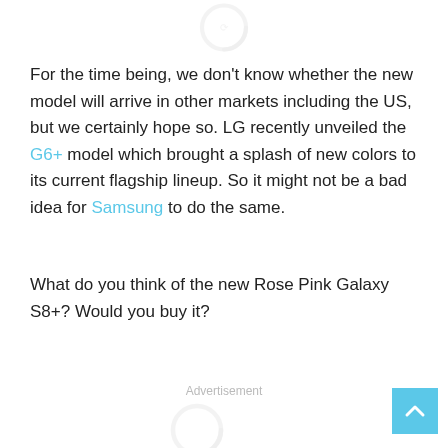[Figure (other): Partially visible loading spinner icon at the top center of the page]
For the time being, we don't know whether the new model will arrive in other markets including the US, but we certainly hope so. LG recently unveiled the G6+ model which brought a splash of new colors to its current flagship lineup. So it might not be a bad idea for Samsung to do the same.
What do you think of the new Rose Pink Galaxy S8+? Would you buy it?
Advertisement
[Figure (other): Partially visible loading spinner icon at the bottom center of the page]